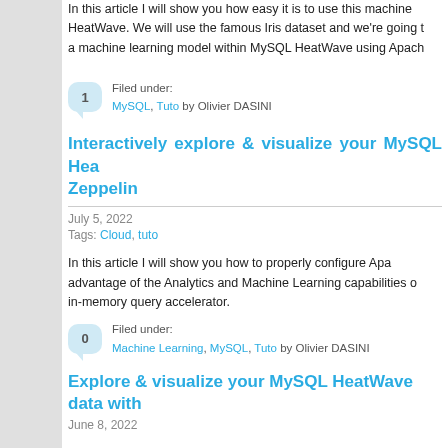In this article I will show you how easy it is to use this machine learning... HeatWave. We will use the famous Iris dataset and we're going to... a machine learning model within MySQL HeatWave using Apach...
Filed under: MySQL, Tuto by Olivier DASINI
Interactively explore & visualize your MySQL Hea... Zeppelin
July 5, 2022
Tags: Cloud, tuto
In this article I will show you how to properly configure Apa... advantage of the Analytics and Machine Learning capabilities o... in-memory query accelerator.
Filed under: Machine Learning, MySQL, Tuto by Olivier DASINI
Explore & visualize your MySQL HeatWave data with...
June 8, 2022